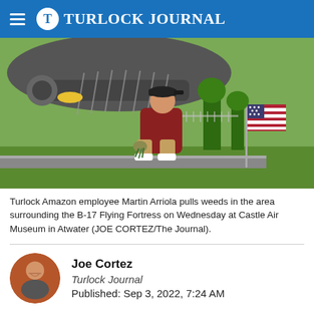Turlock Journal
[Figure (photo): Turlock Amazon employee Martin Arriola crouching and pulling weeds beneath a B-17 Flying Fortress aircraft, with an American flag visible to the right, at Castle Air Museum in Atwater.]
Turlock Amazon employee Martin Arriola pulls weeds in the area surrounding the B-17 Flying Fortress on Wednesday at Castle Air Museum in Atwater (JOE CORTEZ/The Journal).
Joe Cortez
Turlock Journal
Published: Sep 3, 2022, 7:24 AM